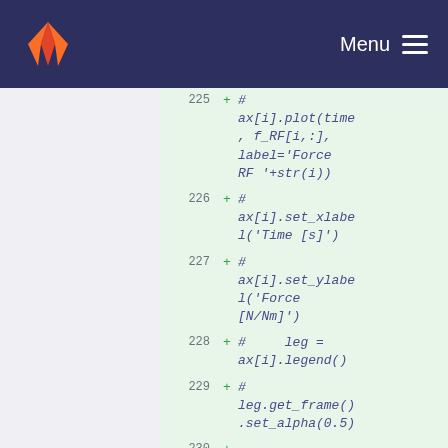GitLab — Menu
225 + # ax[i].plot(time, f_RF[i,:], label='Force RF '+str(i))
226 + # ax[i].set_xlabel('Time [s]')
227 + # ax[i].set_ylabel('Force [N/Nm]')
228 + #     leg = ax[i].legend()
229 + # leg.get_frame().set_alpha(0.5)
230 +
231 + if PLOT_FOOT_TRAJ: